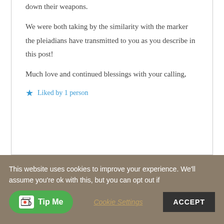down their weapons.

We were both taking by the similarity with the marker the pleiadians have transmitted to you as you describe in this post!

Much love and continued blessings with your calling,
Liked by 1 person
This website uses cookies to improve your experience. We'll assume you're ok with this, but you can opt out if